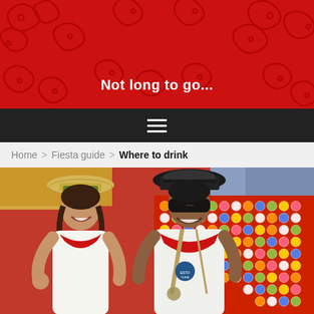[Figure (illustration): Red decorative header banner with dark swirling pattern motifs on a crimson background, containing the site title 'Not long to go...' in white bold text]
Not long to go...
Home > Fiesta guide > Where to drink
[Figure (photo): Two people smiling at the Fiesta de San Fermin (running of the bulls festival). A woman on the left wears a straw hat and red neckerchief over a white top. A man on the right wears a black fedora, sunglasses, red neckerchief, white sleeveless shirt and carries a bag. Behind them is a red wall covered in colorful circular stickers/badges.]